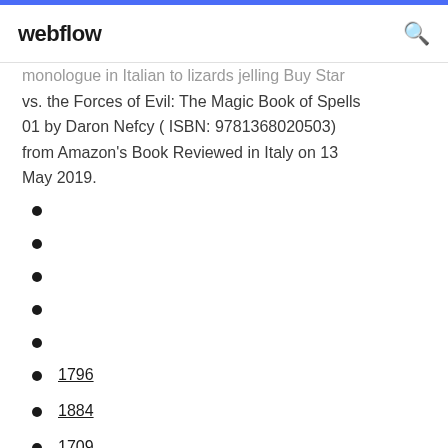webflow
monologue in Italian to lizards jelling Buy Star vs. the Forces of Evil: The Magic Book of Spells 01 by Daron Nefcy ( ISBN: 9781368020503) from Amazon's Book Reviewed in Italy on 13 May 2019.
1796
1884
1709